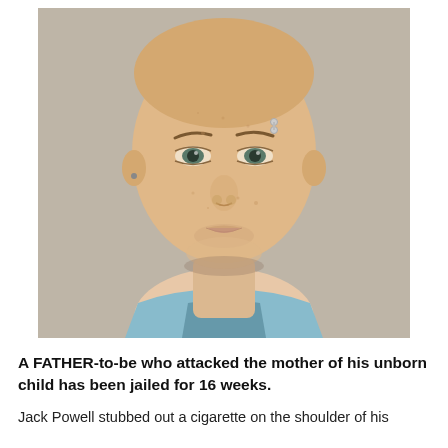[Figure (photo): Mugshot of a young white male with a shaved head, light stubble, and a facial piercing above his right eyebrow. He is wearing a light blue collared shirt. The photo is a standard frontal police/custody photograph.]
A FATHER-to-be who attacked the mother of his unborn child has been jailed for 16 weeks.
Jack Powell stubbed out a cigarette on the shoulder of his